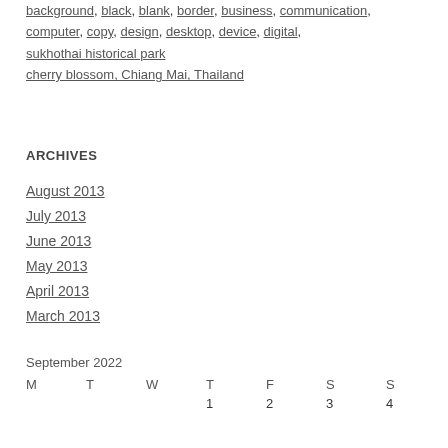background, black, blank, border, business, communication, computer, copy, design, desktop, device, digital, sukhothai historical park, cherry blossom, Chiang Mai, Thailand
ARCHIVES
August 2013
July 2013
June 2013
May 2013
April 2013
March 2013
| M | T | W | T | F | S | S |
| --- | --- | --- | --- | --- | --- | --- |
|  |  |  | 1 | 2 | 3 | 4 |